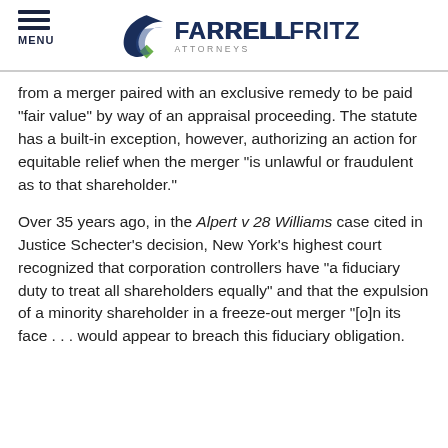MENU | FARRELL FRITZ ATTORNEYS
from a merger paired with an exclusive remedy to be paid “fair value” by way of an appraisal proceeding. The statute has a built-in exception, however, authorizing an action for equitable relief when the merger “is unlawful or fraudulent as to that shareholder.”
Over 35 years ago, in the Alpert v 28 Williams case cited in Justice Schecter’s decision, New York’s highest court recognized that corporation controllers have “a fiduciary duty to treat all shareholders equally” and that the expulsion of a minority shareholder in a freeze-out merger “[o]n its face … would appear to breach this fiduciary obligation.” The court went on to hold that “in a merger t…